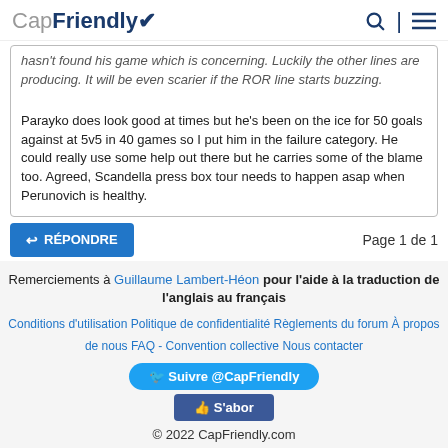CapFriendly
hasn't found his game which is concerning. Luckily the other lines are producing. It will be even scarier if the ROR line starts buzzing.

Parayko does look good at times but he's been on the ice for 50 goals against at 5v5 in 40 games so I put him in the failure category. He could really use some help out there but he carries some of the blame too. Agreed, Scandella press box tour needs to happen asap when Perunovich is healthy.
RÉPONDRE   Page 1 de 1
Remerciements à Guillaume Lambert-Héon pour l'aide à la traduction de l'anglais au français
Conditions d'utilisation   Politique de confidentialité   Règlements du forum   À propos de nous   FAQ - Convention collective   Nous contacter
Suivre @CapFriendly
S'abor
© 2022 CapFriendly.com